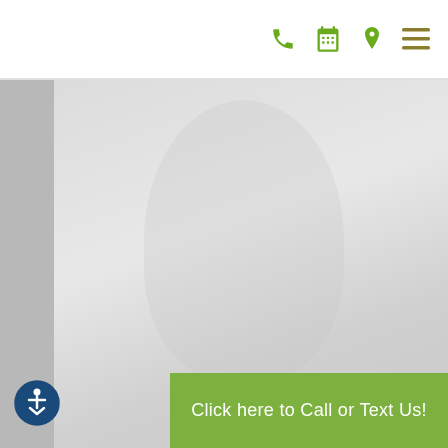[Figure (screenshot): Website header navigation bar with green phone, calendar, location pin, and hamburger menu icons on white background]
[Figure (photo): Grayscale/light background hero image area of a medical or dental office website, showing a large background photo mostly in light grays]
Click here to Call or Text Us!
[Figure (illustration): Blue circular accessibility icon (wheelchair/person symbol) in the bottom-left corner]